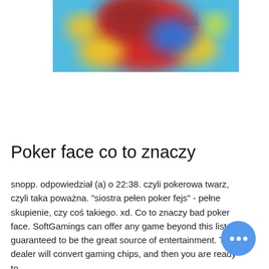[Figure (photo): A blurred colorful image with red, blue, and yellow abstract shapes, partially cropped at the top of the page.]
Poker face co to znaczy
snopp. odpowiedział (a) o 22:38. czyli pokerowa twarz, czyli taka poważna. "siostra pełen poker fejs" - pełne skupienie, czy coś takiego. xd. Co to znaczy bad poker face. SoftGamings can offer any game beyond this list, guaranteed to be the great source of entertainment. The dealer will convert gaming chips, and then you are ready to